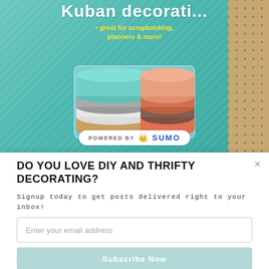[Figure (photo): Photo of washi tape rolls in a clear plastic display holder on a teal/green diagonal-striped background. Text on packaging reads 'Kuban decorat...' and 'great for scrapbooking, planners & more!' in yellow. A 'Powered by SUMO' badge is visible at bottom center. Right side shows a dark lattice/grid surface. Left edge has a white strip.]
DO YOU LOVE DIY AND THRIFTY DECORATING?
Signup today to get posts delivered right to your inbox!